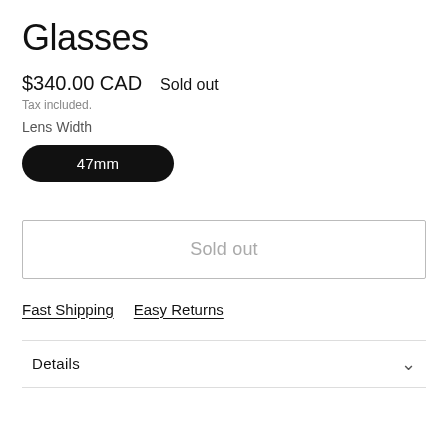Glasses
$340.00 CAD   Sold out
Tax included.
Lens Width
47mm
Sold out
Fast Shipping   Easy Returns
Details